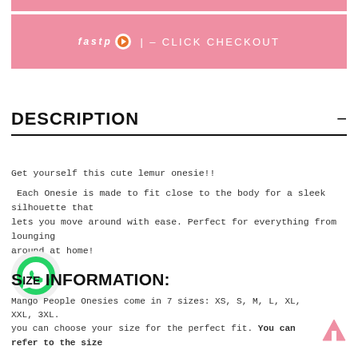[Figure (other): Pink decorative top bar]
[Figure (other): Fast checkout button with fastp logo, text: fastp | - CLICK CHECKOUT]
DESCRIPTION -
Get yourself this cute lemur onesie!!
Each Onesie is made to fit close to the body for a sleek silhouette that lets you move around with ease. Perfect for everything from lounging around at home!
[Figure (logo): WhatsApp green circle icon]
SIZE INFORMATION:
Mango People Onesies come in 7 sizes: XS, S, M, L, XL, XXL, 3XL. you can choose your size for the perfect fit. You can refer to the size